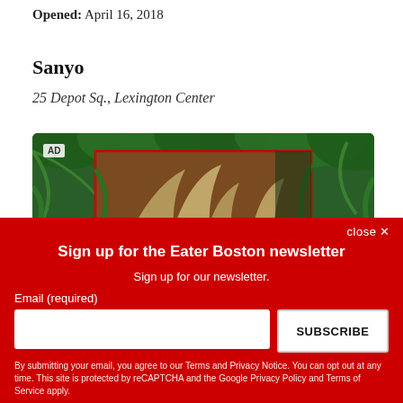Opened: April 16, 2018
Sanyo
25 Depot Sq., Lexington Center
[Figure (photo): Tropical plant advertisement banner with green palm and tropical foliage, labeled AD]
close ×
Sign up for the Eater Boston newsletter
Sign up for our newsletter.
Email (required)
SUBSCRIBE
By submitting your email, you agree to our Terms and Privacy Notice. You can opt out at any time. This site is protected by reCAPTCHA and the Google Privacy Policy and Terms of Service apply.